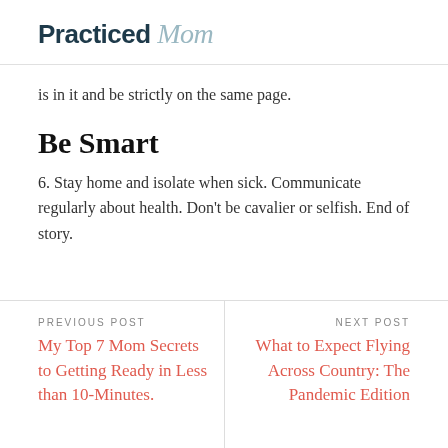Practiced Mom
is in it and be strictly on the same page.
Be Smart
6. Stay home and isolate when sick. Communicate regularly about health. Don't be cavalier or selfish. End of story.
PREVIOUS POST
My Top 7 Mom Secrets to Getting Ready in Less than 10-Minutes.
NEXT POST
What to Expect Flying Across Country: The Pandemic Edition